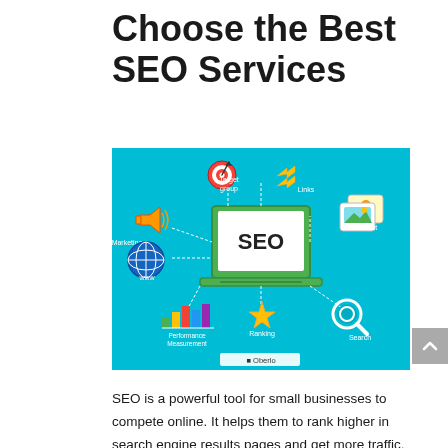Choose the Best SEO Services
[Figure (infographic): SEO infographic on a teal background showing a laptop with 'SEO' on screen, surrounded by icons and labels: Marketing (megaphone), Target group (target/bullseye), Links (double chevron arrows), Content (video/image cards), www (globe), Performance Measurement (bar chart), Ranking (star), Search (magnifying glass). Dashed lines connect the icons to the central laptop. Oberlo watermark at bottom.]
SEO is a powerful tool for small businesses to compete online. It helps them to rank higher in search engine results pages and get more traffic. The SEO expert will help you with the following: –